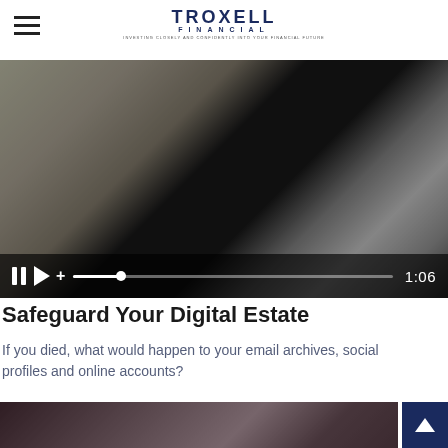Troxell Financial — INVESTING CLOSELY AND CONFIDENTLY INTO YOUR FINANCIAL FUTURE
[Figure (screenshot): Video player showing a person holding a tablet/device, with playback controls at the bottom showing pause button, play button, volume icon, progress bar at ~15%, and time counter showing 1:06]
Safeguard Your Digital Estate
If you died, what would happen to your email archives, social profiles and online accounts?
[Figure (photo): Partial view of a woman with blonde hair wearing a dark red/burgundy jacket, cropped at the bottom of the page]